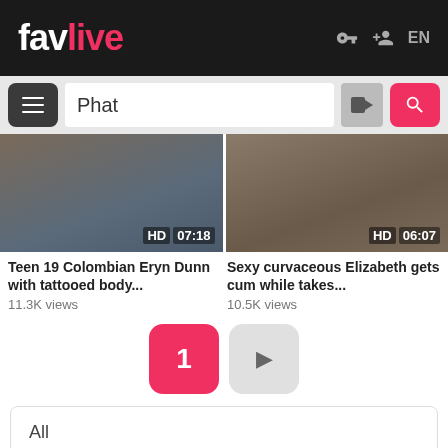favlive — EN
Phat
[Figure (screenshot): Video thumbnail left: HD 07:18]
[Figure (screenshot): Video thumbnail right: HD 06:07]
Teen 19 Colombian Eryn Dunn with tattooed body...
11.3K views
Sexy curvaceous Elizabeth gets cum while takes...
10.5K views
1
All
18+ Teen Babes
Asian Princesses